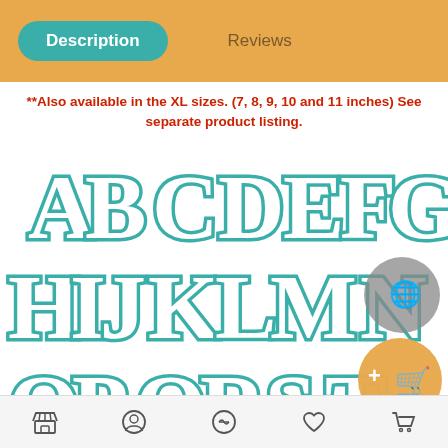Description   Reviews
**Also available in the XL sizes. (7, 8, 9, 10 and 11 inches) See separate product listing.
[Figure (illustration): Decorative embroidery alphabet letters A-G in teal outline style on first row, H-M on second row, O-T on third row, in an ornate Victorian/circus font style]
Store | Profile | Share | Favorites | Cart